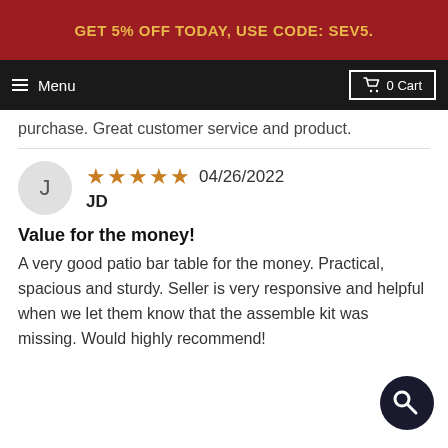GET 5% OFF TODAY, USE CODE: SEV5.
Menu   0 Cart
purchase. Great customer service and product.
★★★★★ 04/26/2022
JD
Value for the money!
A very good patio bar table for the money. Practical, spacious and sturdy. Seller is very responsive and helpful when we let them know that the assemble kit was missing. Would highly recommend!